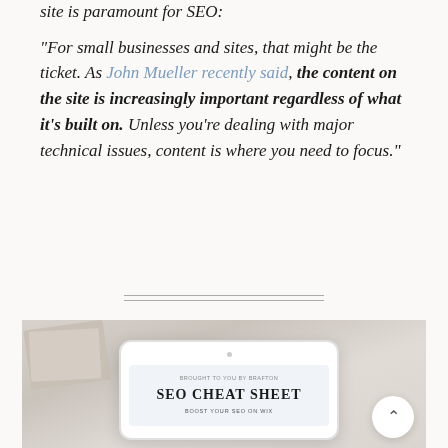site is paramount for SEO:
"For small businesses and sites, that might be the ticket. As John Mueller recently said, the content on the site is increasingly important regardless of what it's built on. Unless you're dealing with major technical issues, content is where you need to focus."
[Figure (photo): A tablet displaying an 'SEO Cheat Sheet - Boost Your SEO on Wix' document, placed on a desk with envelopes in the background. A circular back-to-top button is visible in the bottom right.]